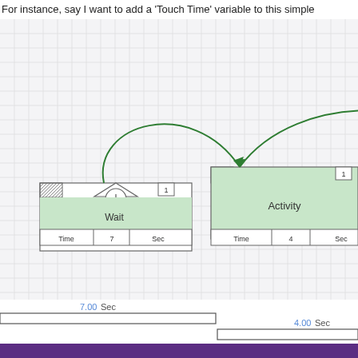For instance, say I want to add a 'Touch Time' variable to this simple
[Figure (flowchart): Process simulation diagram showing alternating Wait and Activity blocks connected by curved green arrows on a grid background. Wait blocks show clock icons with time=7 Sec and time=4 Sec. Activity blocks show time=4 Sec and time=8 Sec. Boxes are labeled with numbers 1. Curved green arrows arc between blocks indicating flow.]
[Figure (other): Timeline bar chart showing durations: first wait 7.00 Sec, first activity 4.00 Sec, second wait 4.00 Sec, second activity 8.00 Sec]